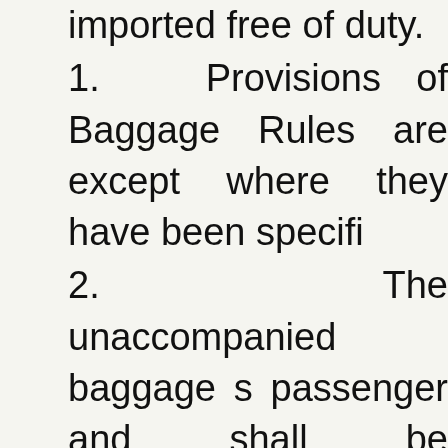imported free of duty.
1.  Provisions of Baggage Rules are except where they have been specifi
2.  The unaccompanied baggage s passenger and shall be dispatched within such further period as the De may allow.
3.  The unaccompanied baggage m the arrival of the passenger or year as the Deputy / Assistant Comm to be recorded, if he is satisfied that in India within the period of two mont